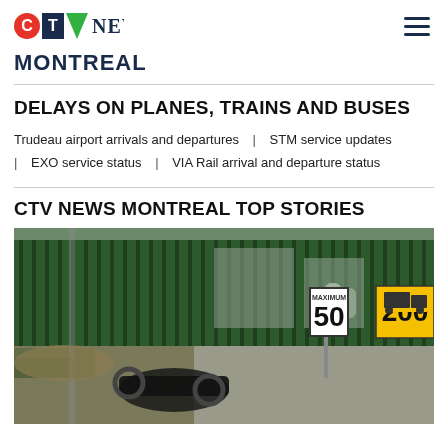CTV NEWS
MONTREAL
DELAYS ON PLANES, TRAINS AND BUSES
Trudeau airport arrivals and departures | STM service updates | EXO service status | VIA Rail arrival and departure status
CTV NEWS MONTREAL TOP STORIES
[Figure (photo): Photo of an overturned motorcycle or ATV on a road near a green fence, with a maximum 50 speed limit sign and a yellow truck warning sign visible]